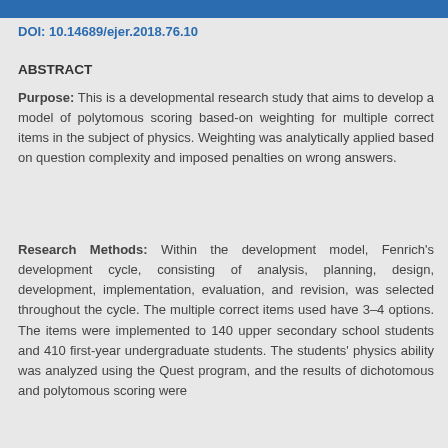DOI: 10.14689/ejer.2018.76.10
ABSTRACT
Purpose: This is a developmental research study that aims to develop a model of polytomous scoring based-on weighting for multiple correct items in the subject of physics. Weighting was analytically applied based on question complexity and imposed penalties on wrong answers.
Research Methods: Within the development model, Fenrich's development cycle, consisting of analysis, planning, design, development, implementation, evaluation, and revision, was selected throughout the cycle. The multiple correct items used have 3–4 options. The items were implemented to 140 upper secondary school students and 410 first-year undergraduate students. The students' physics ability was analyzed using the Quest program, and the results of dichotomous and polytomous scoring were